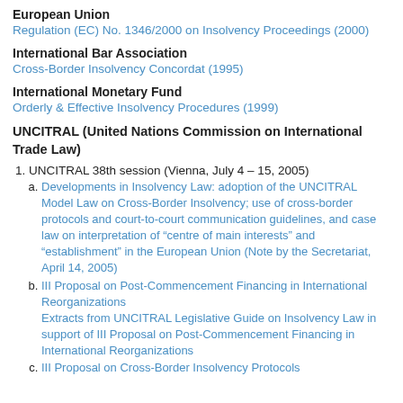European Union
Regulation (EC) No. 1346/2000 on Insolvency Proceedings (2000)
International Bar Association
Cross-Border Insolvency Concordat (1995)
International Monetary Fund
Orderly & Effective Insolvency Procedures (1999)
UNCITRAL (United Nations Commission on International Trade Law)
UNCITRAL 38th session (Vienna, July 4 – 15, 2005)
a. Developments in Insolvency Law: adoption of the UNCITRAL Model Law on Cross-Border Insolvency; use of cross-border protocols and court-to-court communication guidelines, and case law on interpretation of “centre of main interests” and “establishment” in the European Union (Note by the Secretariat, April 14, 2005)
b. III Proposal on Post-Commencement Financing in International Reorganizations
Extracts from UNCITRAL Legislative Guide on Insolvency Law in support of III Proposal on Post-Commencement Financing in International Reorganizations
c. III Proposal on Cross-Border Insolvency Protocols